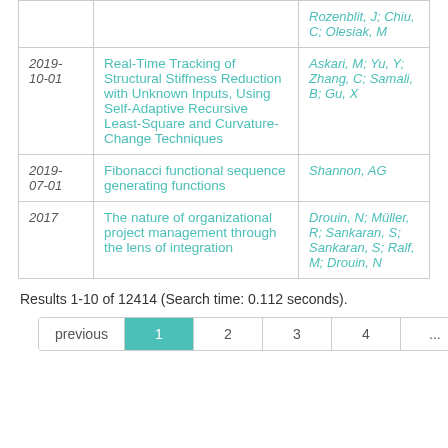| Date | Title | Authors |
| --- | --- | --- |
|  | Rozenblit, J; Chiu, C; Olesiak, M |  |
| 2019-10-01 | Real-Time Tracking of Structural Stiffness Reduction with Unknown Inputs, Using Self-Adaptive Recursive Least-Square and Curvature-Change Techniques | Askari, M; Yu, Y; Zhang, C; Samali, B; Gu, X |
| 2019-07-01 | Fibonacci functional sequence generating functions | Shannon, AG |
| 2017 | The nature of organizational project management through the lens of integration | Drouin, N; Müller, R; Sankaran, S; Sankaran, S; Ralf, M; Drouin, N |
Results 1-10 of 12414 (Search time: 0.112 seconds).